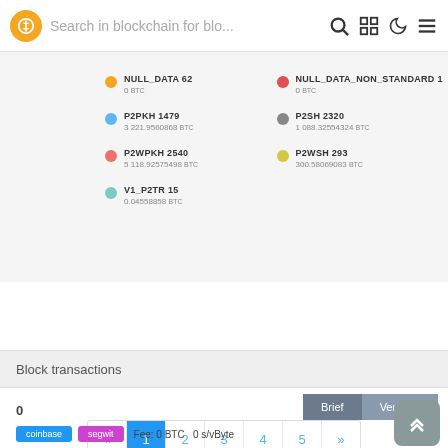Search in blockchain for blo...
NULL_DATA 62 — 0 BTC
P2PKH 1479 — 3 221.9560868 BTC
P2WPKH 2540 — 5 118.92575498 BTC
V1_P2TR 15 — 0.04558858 BTC
NULL_DATA_NON_STANDARD 1 — 0 BTC
P2SH 2320 — 1 088.32554324 BTC
P2WSH 293 — 300.58069083 BTC
Block transactions
Brief | Verbose
« 1 2 3 4 5 »
0
coinbase segwit Fee: 0 BTC 0 s/vByte